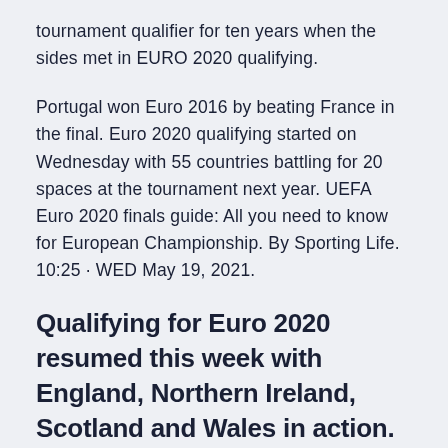tournament qualifier for ten years when the sides met in EURO 2020 qualifying.
Portugal won Euro 2016 by beating France in the final. Euro 2020 qualifying started on Wednesday with 55 countries battling for 20 spaces at the tournament next year. UEFA Euro 2020 finals guide: All you need to know for European Championship. By Sporting Life. 10:25 · WED May 19, 2021.
Qualifying for Euro 2020 resumed this week with England, Northern Ireland, Scotland and Wales in action. BBC Sport takes a look at the situation so far.